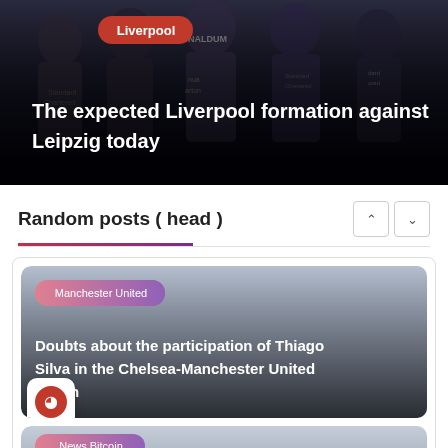[Figure (photo): Liverpool football players in dark jerseys grouped together, with text overlay showing article title]
Liverpool
The expected Liverpool formation against Leipzig today
Random posts ( head )
[Figure (photo): Grey gradient card with Manchester United label and article about Thiago Silva]
Manchester United
Doubts about the participation of Thiago Silva in the Chelsea-Manchester United match
[Figure (photo): Partial grey gradient card with News Bitcoin label visible at bottom]